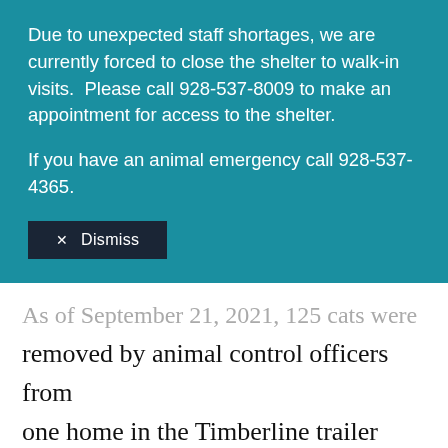Due to unexpected staff shortages, we are currently forced to close the shelter to walk-in visits.  Please call 928-537-8009 to make an appointment for access to the shelter.
If you have an animal emergency call 928-537-4365.
✕ Dismiss
As of September 21, 2021, 125 cats were removed by animal control officers from one home in the Timberline trailer park in Show Low.  These cats arrived at Pet Allies primarily over 2 days and immediate medical and emergency care was put in